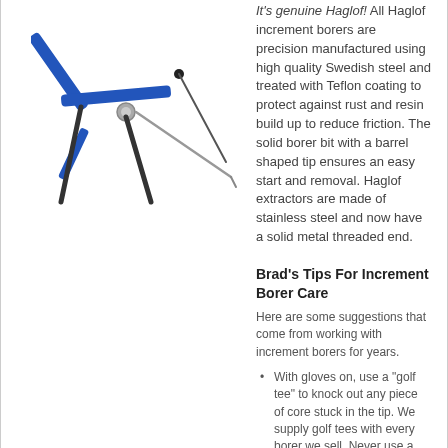[Figure (photo): Haglof increment borer tool with blue handles and extractor, shown disassembled]
It's genuine Haglof! All Haglof increment borers are precision manufactured using high quality Swedish steel and treated with Teflon coating to protect against rust and resin build up to reduce friction. The solid borer bit with a barrel shaped tip ensures an easy start and removal. Haglof extractors are made of stainless steel and now have a solid metal threaded end.
Brad's Tips For Increment Borer Care
Here are some suggestions that come from working with increment borers for years.
With gloves on, use a "golf tee" to knock out any piece of core stuck in the tip. We supply golf tees with every borer we sell. Never use a nail.